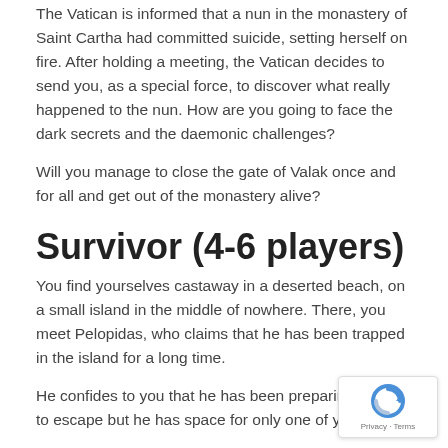The Vatican is informed that a nun in the monastery of Saint Cartha had committed suicide, setting herself on fire. After holding a meeting, the Vatican decides to send you, as a special force, to discover what really happened to the nun. How are you going to face the dark secrets and the daemonic challenges?
Will you manage to close the gate of Valak once and for all and get out of the monastery alive?
Survivor (4-6 players)
You find yourselves castaway in a deserted beach, on a small island in the middle of nowhere. There, you meet Pelopidas, who claims that he has been trapped in the island for a long time.
He confides to you that he has been preparing a plan to escape but he has space for only one of you.
Pelopidas will submit you in a race of survival, where determination and combativeness will be crucial. There will be only one winner, who will earn deservedly his spot for the trip back to reality.